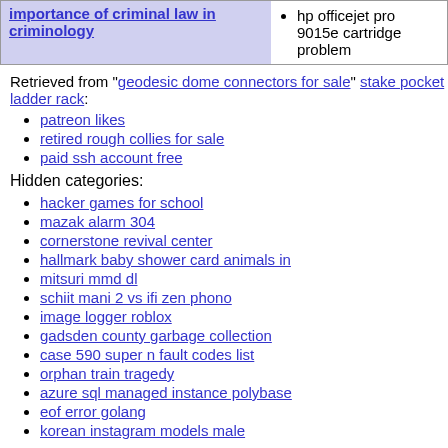importance of criminal law in criminology
hp officejet pro 9015e cartridge problem
Retrieved from "geodesic dome connectors for sale" stake pocket ladder rack:
patreon likes
retired rough collies for sale
paid ssh account free
Hidden categories:
hacker games for school
mazak alarm 304
cornerstone revival center
hallmark baby shower card animals in
mitsuri mmd dl
schiit mani 2 vs ifi zen phono
image logger roblox
gadsden county garbage collection
case 590 super n fault codes list
orphan train tragedy
azure sql managed instance polybase
eof error golang
korean instagram models male